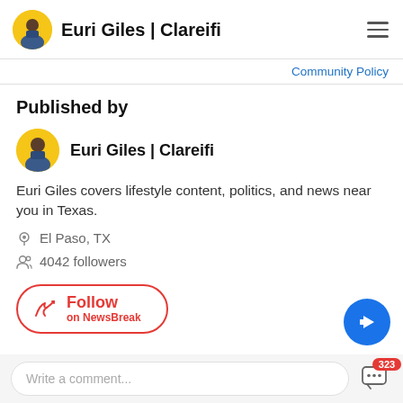Euri Giles | Clareifi
Community Policy
Published by
Euri Giles | Clareifi
Euri Giles covers lifestyle content, politics, and news near you in Texas.
El Paso, TX
4042 followers
Follow on NewsBreak
Write a comment...